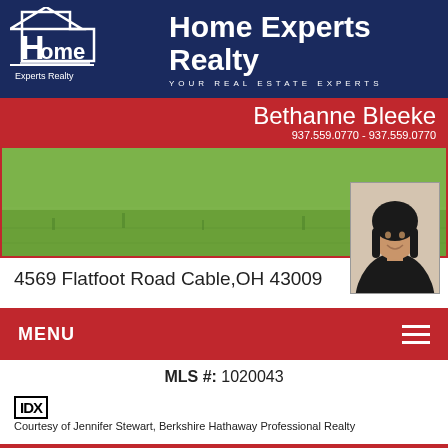Home Experts Realty — YOUR REAL ESTATE EXPERTS
Bethanne Bleeke
937.559.0770 - 937.559.0770
[Figure (photo): Property exterior photo showing green lawn/grass]
[Figure (photo): Headshot of agent Bethanne Bleeke]
4569 Flatfoot Road Cable,OH 43009
MENU
MLS #: 1020043
[Figure (logo): IDX logo]
Courtesy of Jennifer Stewart, Berkshire Hathaway Professional Realty
IDX Information provided by Western Regional Information Systems and Technology
[Figure (photo): Property listing photo showing house exterior with trees]